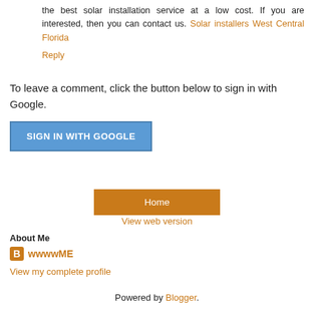the best solar installation service at a low cost. If you are interested, then you can contact us. Solar installers West Central Florida
Reply
To leave a comment, click the button below to sign in with Google.
[Figure (other): Blue 'SIGN IN WITH GOOGLE' button]
[Figure (other): Orange 'Home' button]
View web version
About Me
wwwwME
View my complete profile
Powered by Blogger.